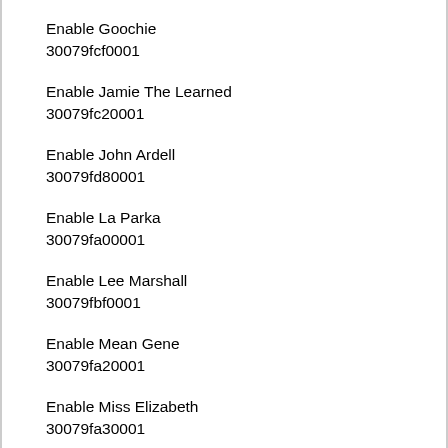Enable Goochie
30079fcf0001
Enable Jamie The Learned
30079fc20001
Enable John Ardell
30079fd80001
Enable La Parka
30079fa00001
Enable Lee Marshall
30079fbf0001
Enable Mean Gene
30079fa20001
Enable Miss Elizabeth
30079fa30001
Enable Booprimeter